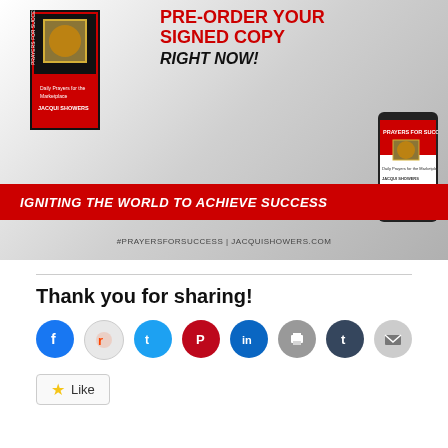[Figure (photo): Book promotion banner for 'Prayers for Success' by Jacqui Showers. Shows book cover on left, author photo in center, smartphone with ebook on right, red banner reading 'IGNITING THE WORLD TO ACHIEVE SUCCESS', text 'PRE-ORDER YOUR SIGNED COPY RIGHT NOW!', and hashtag #PRAYERSFORSUCCESS | JACQUISHOWERS.COM]
Thank you for sharing!
[Figure (infographic): Row of social sharing icon buttons: Facebook (blue), Reddit (light gray), Twitter (blue), Pinterest (red), LinkedIn (blue), Print (gray), Tumblr (dark blue), Email (gray)]
Like